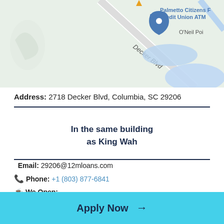[Figure (map): Google Maps view showing Decker Blvd area in Columbia, SC with Palmetto Citizens Federal Credit Union ATM marker and O'Neil Poi label visible]
Address: 2718 Decker Blvd, Columbia, SC 29206
In the same building as King Wah
Email: 29206@12mloans.com
📞 Phone: +1 (803) 877-6841
☕ We Open:
Monday-Friday: 10am – 6pm Saturday-Sunday: 10am – 4pm
Apply Now →